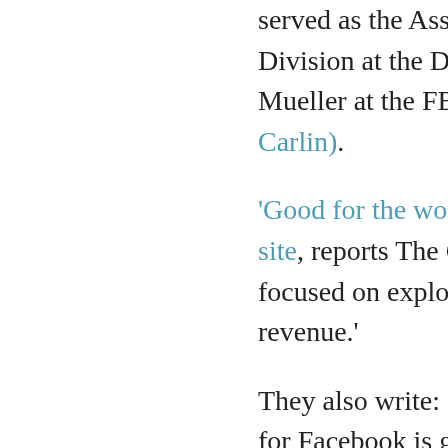served as the Assistant A... Division at the Departmen... Mueller at the FBI.) Stay T... Carlin).
'Good for the world'? Fac... site, reports The Guardian... focused on exploiting dev... revenue.'
They also write: `The cen... for Facebook is good for t... more connection will `mak...